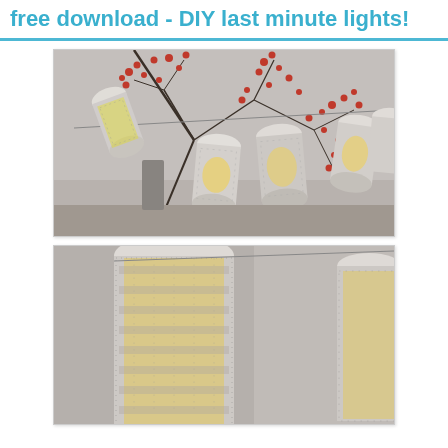free download - DIY last minute lights!
[Figure (photo): Multiple cylindrical paper lantern shades with dotted/textured pattern hung on a string of lights, with red berry branch decoration in background]
[Figure (photo): Close-up of cylindrical paper lantern shade with dotted/textured silver-grey pattern, showing warm yellow light inside, with wire extending from top]